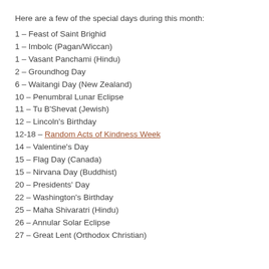Here are a few of the special days during this month:
1 – Feast of Saint Brighid
1 – Imbolc (Pagan/Wiccan)
1 – Vasant Panchami (Hindu)
2 – Groundhog Day
6 – Waitangi Day (New Zealand)
10 – Penumbral Lunar Eclipse
11 – Tu B'Shevat (Jewish)
12 – Lincoln's Birthday
12-18 – Random Acts of Kindness Week
14 – Valentine's Day
15 – Flag Day (Canada)
15 – Nirvana Day (Buddhist)
20 – Presidents' Day
22 – Washington's Birthday
25 – Maha Shivaratri (Hindu)
26 – Annular Solar Eclipse
27 – Great Lent (Orthodox Christian)